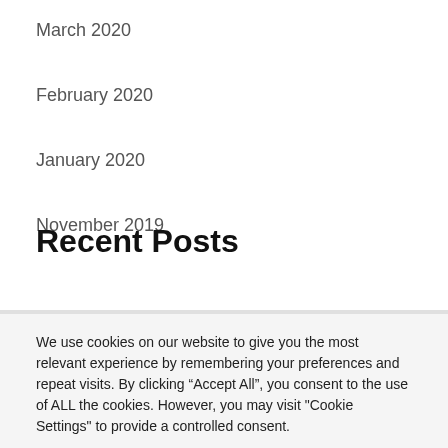March 2020
February 2020
January 2020
November 2019
Recent Posts
We use cookies on our website to give you the most relevant experience by remembering your preferences and repeat visits. By clicking “Accept All”, you consent to the use of ALL the cookies. However, you may visit "Cookie Settings" to provide a controlled consent.
Cookie Settings  Accept All